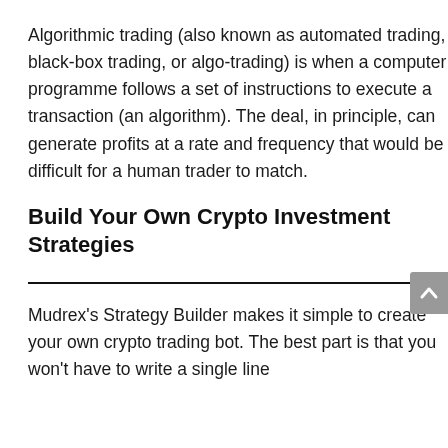Algorithmic trading (also known as automated trading, black-box trading, or algo-trading) is when a computer programme follows a set of instructions to execute a transaction (an algorithm). The deal, in principle, can generate profits at a rate and frequency that would be difficult for a human trader to match.
Build Your Own Crypto Investment Strategies
Mudrex's Strategy Builder makes it simple to create your own crypto trading bot. The best part is that you won't have to write a single line